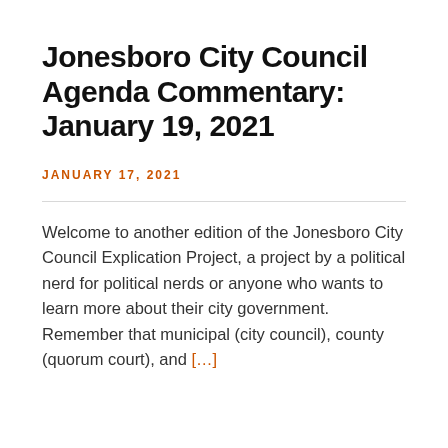Jonesboro City Council Agenda Commentary: January 19, 2021
JANUARY 17, 2021
Welcome to another edition of the Jonesboro City Council Explication Project, a project by a political nerd for political nerds or anyone who wants to learn more about their city government. Remember that municipal (city council), county (quorum court), and [...]